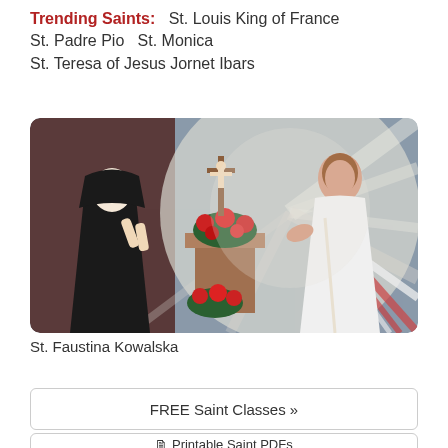Trending Saints:   St. Louis King of France   St. Padre Pio   St. Monica   St. Teresa of Jesus Jornet Ibars
[Figure (illustration): Religious painting showing St. Faustina Kowalska in a black habit praying with hands raised, facing a vision of Jesus Christ in white robes with rays of light emanating from his heart, with a crucifix and flowers in the background.]
St. Faustina Kowalska
FREE Saint Classes »
Printable Saint PDFs